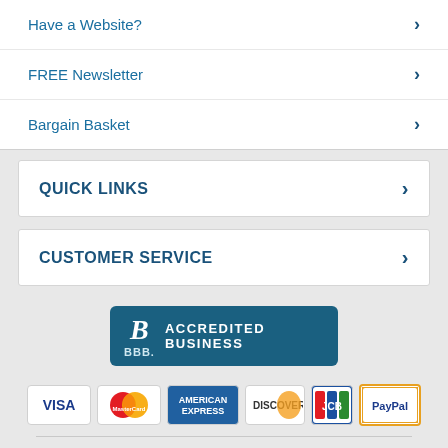Have a Website?
FREE Newsletter
Bargain Basket
QUICK LINKS
CUSTOMER SERVICE
[Figure (logo): BBB Accredited Business badge]
[Figure (infographic): Payment method logos: Visa, MasterCard, American Express, Discover, JCB, PayPal]
[Figure (logo): Norton Shopping Guarantee badge with verifying... text]
STAY CONNECTED
[Figure (infographic): Social media icons: Facebook, Twitter, Blog]